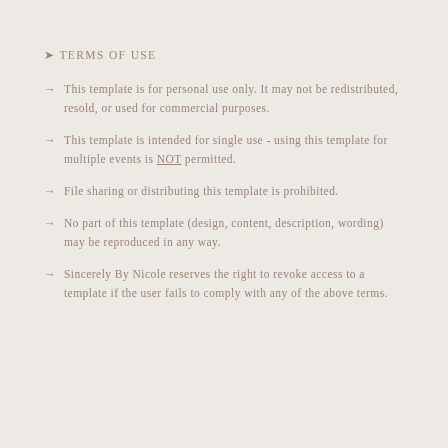➤ TERMS OF USE
→ This template is for personal use only. It may not be redistributed, resold, or used for commercial purposes.
→ This template is intended for single use - using this template for multiple events is NOT permitted.
→ File sharing or distributing this template is prohibited.
→ No part of this template (design, content, description, wording) may be reproduced in any way.
→ Sincerely By Nicole reserves the right to revoke access to a template if the user fails to comply with any of the above terms.